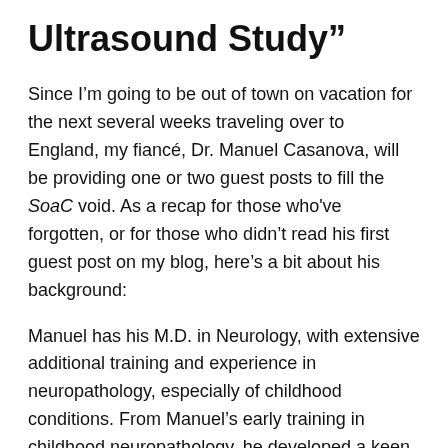Ultrasound Study”
Since I’m going to be out of town on vacation for the next several weeks traveling over to England, my fiancé, Dr. Manuel Casanova, will be providing one or two guest posts to fill the SoaC void. As a recap for those who've forgotten, or for those who didn’t read his first guest post on my blog, here’s a bit about his background:
Manuel has his M.D. in Neurology, with extensive additional training and experience in neuropathology, especially of childhood conditions. From Manuel’s early training in childhood neuropathology, he developed a keen interest in autism spectrum conditions and has been hooked ever since. While he has had much clinical experience, he is no longer practicing and instead devotes his time fully to research and being one of the most prominent